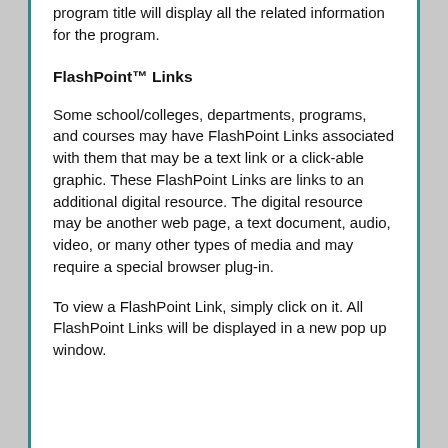program title will display all the related information for the program.
FlashPoint™ Links
Some school/colleges, departments, programs, and courses may have FlashPoint Links associated with them that may be a text link or a click-able graphic. These FlashPoint Links are links to an additional digital resource. The digital resource may be another web page, a text document, audio, video, or many other types of media and may require a special browser plug-in.
To view a FlashPoint Link, simply click on it. All FlashPoint Links will be displayed in a new pop up window.